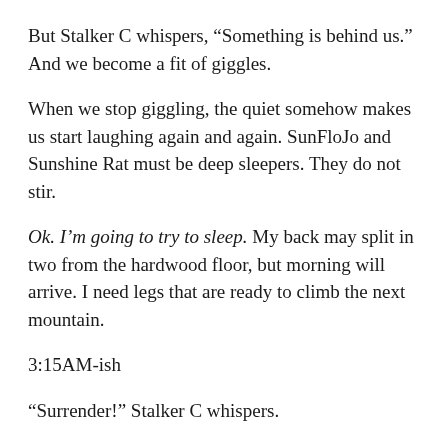But Stalker C whispers, “Something is behind us.” And we become a fit of giggles.
When we stop giggling, the quiet somehow makes us start laughing again and again. SunFloJo and Sunshine Rat must be deep sleepers. They do not stir.
Ok. I’m going to try to sleep. My back may split in two from the hardwood floor, but morning will arrive. I need legs that are ready to climb the next mountain.
3:15AM-ish
“Surrender!” Stalker C whispers.
I don’t move. Through the buff I say, “What?”